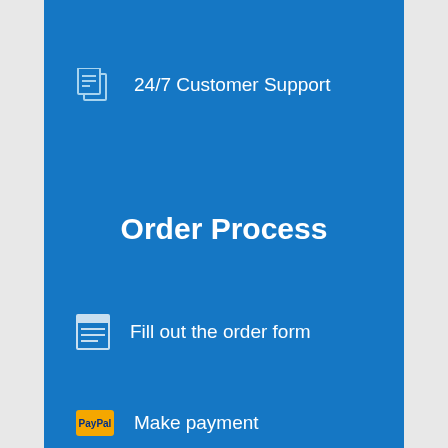24/7 Customer Support
Order Process
Fill out the order form
Make payment